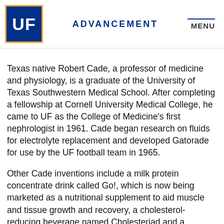UF ADVANCEMENT MENU
Texas native Robert Cade, a professor of medicine and physiology, is a graduate of the University of Texas Southwestern Medical School. After completing a fellowship at Cornell University Medical College, he came to UF as the College of Medicine’s first nephrologist in 1961. Cade began research on fluids for electrolyte replacement and developed Gatorade for use by the UF football team in 1965.
Other Cade inventions include a milk protein concentrate drink called Go!, which is now being marketed as a nutritional supplement to aid muscle and tissue growth and recovery, a cholesterol-reducing beverage named Cholesteriad and a hydraulic football helmet to better protect against concussions. He is also well known for his pioneering studies on the